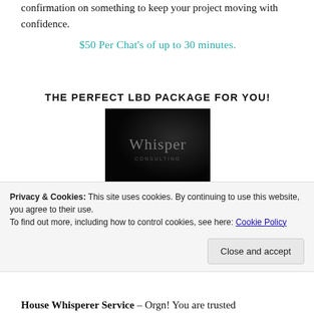confirmation on something to keep your project moving with confidence.
$50 Per Chat's of up to 30 minutes.
THE PERFECT LBD PACKAGE FOR YOU!
[Figure (photo): Dark image with the word 'Whisper' in light text on a dark background]
Privacy & Cookies: This site uses cookies. By continuing to use this website, you agree to their use. To find out more, including how to control cookies, see here: Cookie Policy
House Whisperer Service – Orgn! You are trusted